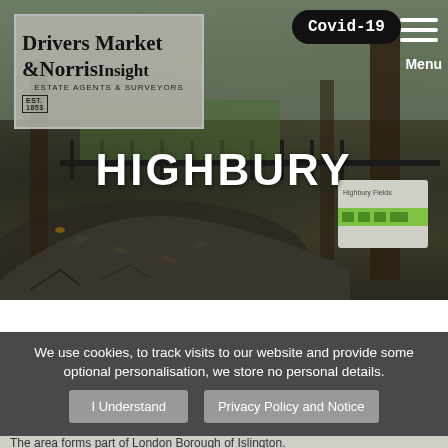[Figure (photo): Hero image of Highbury Fields park with iron railings, trees, fallen leaves, and a park information board. Drivers & Norris estate agents logo overlaid top-left, Market Insight text, Covid-19 pill badge, hamburger menu, and HIGHBURY title text.]
HIGHBURY
We use cookies, to track visits to our website and provide some optional personalisation, we store no personal details.
I Understand
Privacy Policy and Notice
The area forms part of London Borough of Islington.